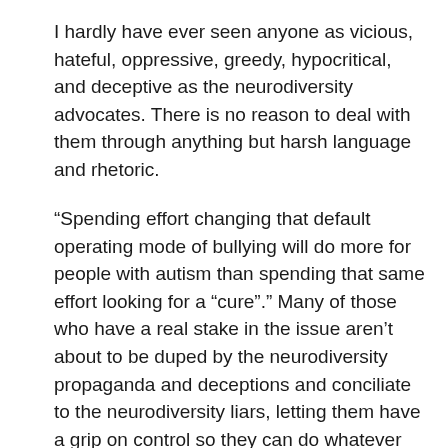I hardly have ever seen anyone as vicious, hateful, oppressive, greedy, hypocritical, and deceptive as the neurodiversity advocates. There is no reason to deal with them through anything but harsh language and rhetoric.
“Spending effort changing that default operating mode of bullying will do more for people with autism than spending that same effort looking for a “cure”.” Many of those who have a real stake in the issue aren’t about to be duped by the neurodiversity propaganda and deceptions and conciliate to the neurodiversity liars, letting them have a grip on control so they can do whatever they want in oppressing the LFA, keeping them down.